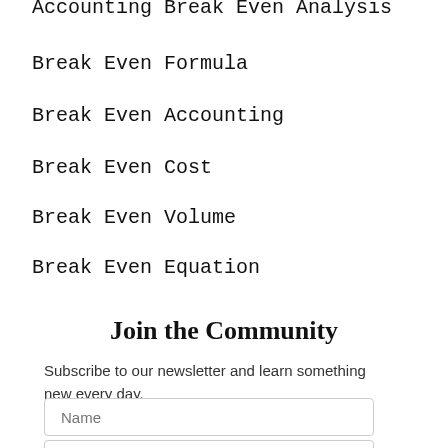Accounting Break Even Analysis
Break Even Formula
Break Even Accounting
Break Even Cost
Break Even Volume
Break Even Equation
Join the Community
Subscribe to our newsletter and learn something new every day.
Name
Email Address